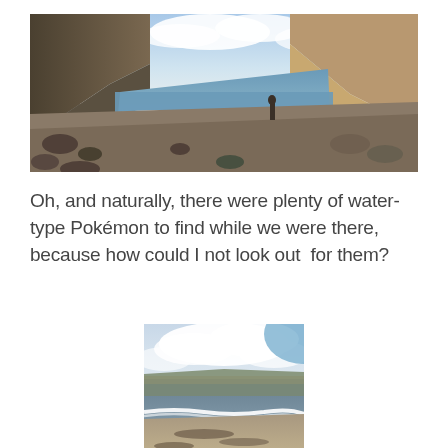[Figure (photo): Wide panoramic photo of a beach cove with rocky cliffs on left and right, calm ocean water in the center background, white wave breaking on shore, rocky sandy beach in foreground, and a person visible on the right side. Blue sky with clouds above.]
Oh, and naturally, there were plenty of water-type Pokémon to find while we were there, because how could I not look out  for them?
[Figure (photo): Vertical photo of the same beach cove taken from a low angle near the sandy beach. Cloudy sky at top, rocky cliff headland visible in the background across the water, waves on the shore, sandy beach with debris in foreground, and a hand holding something pink/white at the bottom.]